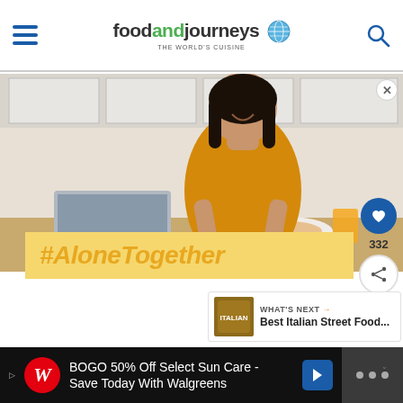foodandjourneys
[Figure (photo): Woman in yellow/mustard shirt smiling, eating at a kitchen table with a laptop, plate of food and orange juice glass. Kitchen background. Overlay: #AloneTogether on yellow banner.]
#AloneTogether
332
WHAT'S NEXT → Best Italian Street Food...
BOGO 50% Off Select Sun Care - Save Today With Walgreens